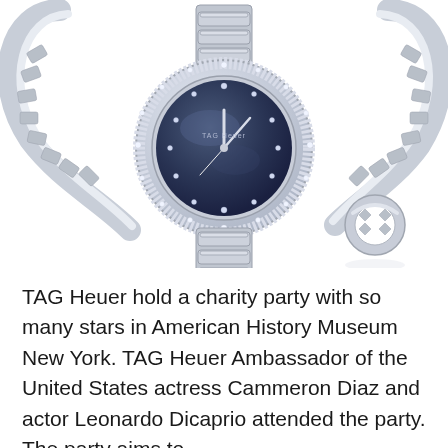[Figure (photo): Product photo of TAG Heuer silver watch with blue mother-of-pearl diamond-set dial surrounded by silver bracelets and a ring, all displayed on white background]
TAG Heuer hold a charity party with so many stars in American History Museum New York. TAG Heuer Ambassador of the United States actress Cammeron Diaz and actor Leonardo Dicaprio attended the party. The party aims to